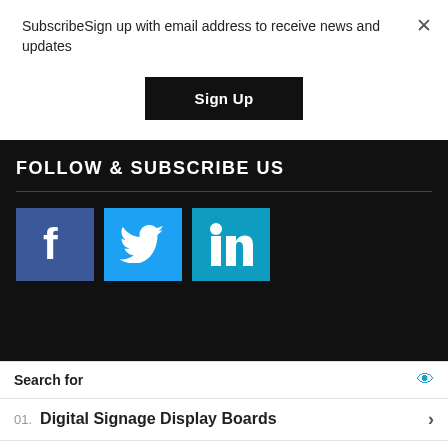SubscribeSign up with email address to receive news and updates
Sign Up
FOLLOW & SUBSCRIBE US
[Figure (illustration): Three social media icons: Facebook (blue square with white f), Twitter (light blue square with white bird), LinkedIn (teal square with white 'in')]
Search for
01. Digital Signage Display Boards
02. Top Dental Implant Marketing
Yahoo! Search | Sponsored